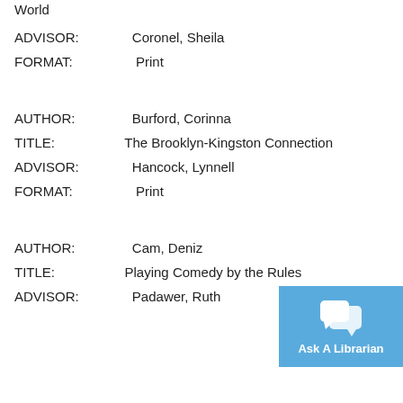World
ADVISOR:   Coronel, Sheila
FORMAT:   Print
AUTHOR:   Burford, Corinna
TITLE:   The Brooklyn-Kingston Connection
ADVISOR:   Hancock, Lynnell
FORMAT:   Print
AUTHOR:   Cam, Deniz
TITLE:   Playing Comedy by the Rules
ADVISOR:   Padawer, Ruth
[Figure (other): Ask A Librarian chat button with speech bubble icons]